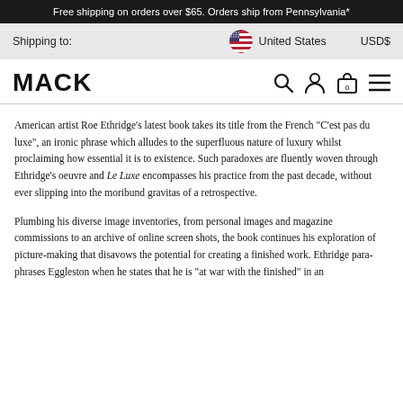Free shipping on orders over $65. Orders ship from Pennsylvania*
Shipping to:   United States   USD$
MACK
American artist Roe Ethridge's latest book takes its title from the French "C'est pas du luxe", an ironic phrase which alludes to the superfluous nature of luxury whilst proclaiming how essential it is to existence. Such paradoxes are fluently woven through Ethridge's oeuvre and Le Luxe encompasses his practice from the past decade, without ever slipping into the moribund gravitas of a retrospective.
Plumbing his diverse image inventories, from personal images and magazine commissions to an archive of online screen shots, the book continues his exploration of picture-making that disavows the potential for creating a finished work. Ethridge para-phrases Eggleston when he states that he is "at war with the finished" in an